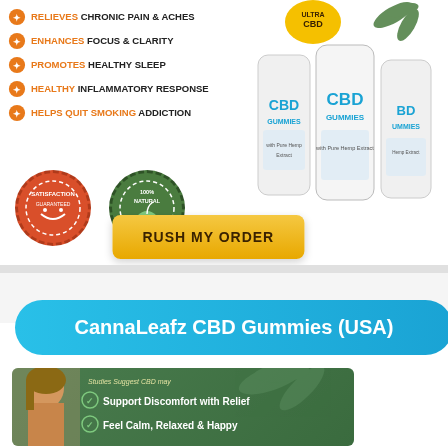RELIEVES CHRONIC PAIN & ACHES
ENHANCES FOCUS & CLARITY
PROMOTES HEALTHY SLEEP
HEALTHY INFLAMMATORY RESPONSE
HELPS QUIT SMOKING ADDICTION
[Figure (photo): Three white bottles of CBD Gummies with blue label and a gold circular badge showing CBD at top]
[Figure (illustration): Satisfaction badge - circular red stamp]
[Figure (illustration): 100% Natural badge - circular green stamp]
[Figure (illustration): RUSH MY ORDER yellow button]
CannaLeafz CBD Gummies (USA)
[Figure (photo): Woman with a green banner showing Studies Suggest CBD may: Support Discomfort with Relief, Feel Calm, Relaxed & Happy]